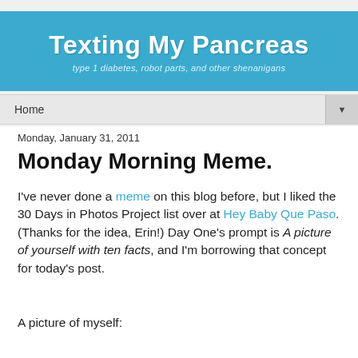Texting My Pancreas — type 1 diabetes, robot parts, and other shenanigans
Home
Monday, January 31, 2011
Monday Morning Meme.
I've never done a meme on this blog before, but I liked the 30 Days in Photos Project list over at Hey Baby Que Paso. (Thanks for the idea, Erin!) Day One's prompt is A picture of yourself with ten facts, and I'm borrowing that concept for today's post.
A picture of myself: